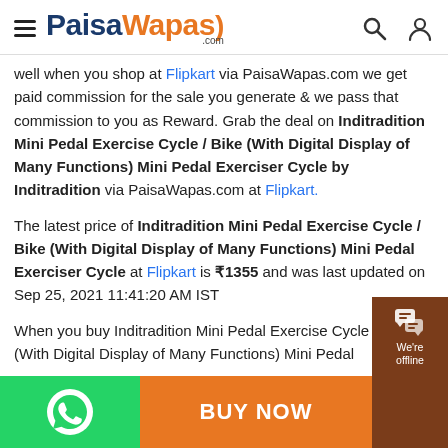PaisaWapas.com
well when you shop at Flipkart via PaisaWapas.com we get paid commission for the sale you generate & we pass that commission to you as Reward. Grab the deal on Inditradition Mini Pedal Exercise Cycle / Bike (With Digital Display of Many Functions) Mini Pedal Exerciser Cycle by Inditradition via PaisaWapas.com at Flipkart.
The latest price of Inditradition Mini Pedal Exercise Cycle / Bike (With Digital Display of Many Functions) Mini Pedal Exerciser Cycle at Flipkart is ₹1355 and was last updated on Sep 25, 2021 11:41:20 AM IST
When you buy Inditradition Mini Pedal Exercise Cycle / Bike (With Digital Display of Many Functions) Mini Pedal
BUY NOW